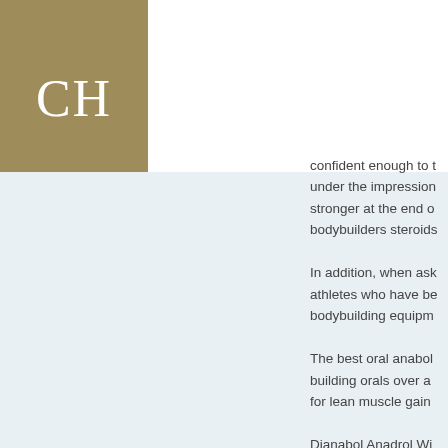[Figure (logo): CH logo on dark gold/olive square background]
confident enough to take being under the impression stronger at the end of bodybuilders steroids
In addition, when asked athletes who have been bodybuilding equipment
The best oral anabolic building orals over a for lean muscle gain
Dianabol Anadrol Wi
Dianabol is one of the weight gain, its anti-a